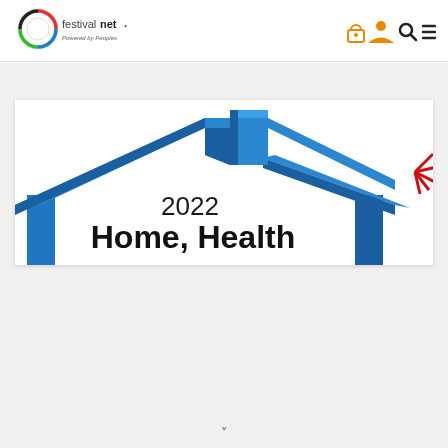[Figure (logo): FestivalNet logo with circular multicolor graphic and text 'festivalnet. Powered by Peoples']
[Figure (illustration): Navigation icons: padlock, person, search, hamburger menu in orange color]
[Figure (illustration): Event banner image showing a 3D blue house roof shape with text '2022 Home, Health' in bold black on white background]